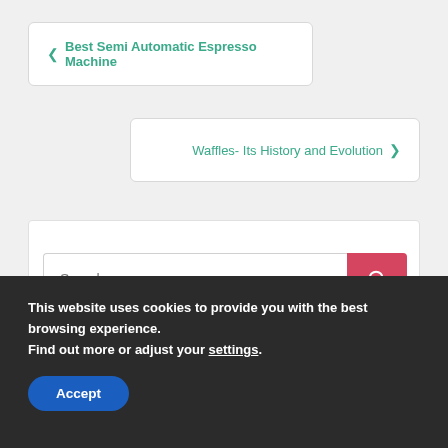❮ Best Semi Automatic Espresso Machine
Waffles- Its History and Evolution ❯
[Figure (screenshot): Search widget with text input field and red search button, with Popular and Recent tabs and a loading spinner below]
This website uses cookies to provide you with the best browsing experience.
Find out more or adjust your settings.
Accept